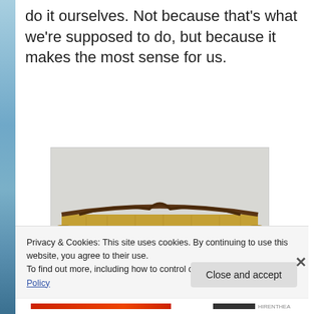do it ourselves. Not because that's what we're supposed to do, but because it makes the most sense for us.
[Figure (photo): Photo of an old-style sofa/couch with ornate wooden frame and golden/mustard upholstery, photographed against a white wall background.]
Privacy & Cookies: This site uses cookies. By continuing to use this website, you agree to their use.
To find out more, including how to control cookies, see here: Cookie Policy